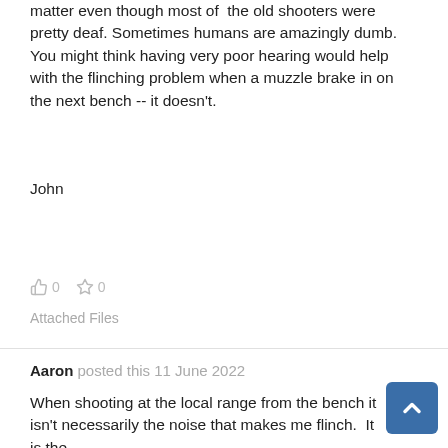matter even though most of the old shooters were pretty deaf. Sometimes humans are amazingly dumb. You might think having very poor hearing would help with the flinching problem when a muzzle brake in on the next bench -- it doesn't.
John
👍 0  ☆ 0
Attached Files
Aaron posted this 11 June 2022
When shooting at the local range from the bench it isn't necessarily the noise that makes me flinch.  It is the blast concussion from rifles with short barrels and those with muzzle brakes or, sometimes, flash suppressors that are also muzzle brakes.  This is especially the case with large capacity magnum cartridges.